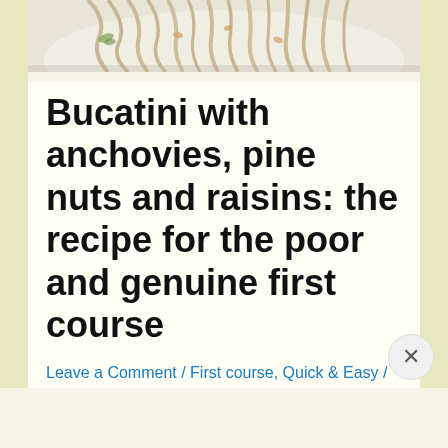[Figure (photo): Partial photo of a plate of bucatini pasta with anchovies, pine nuts and raisins, shown from above, on a white plate. Only the bottom portion of the image is visible.]
Bucatini with anchovies, pine nuts and raisins: the recipe for the poor and genuine first course
Leave a Comment / First course, Quick & Easy / By Kelly Selly Ariyarathna